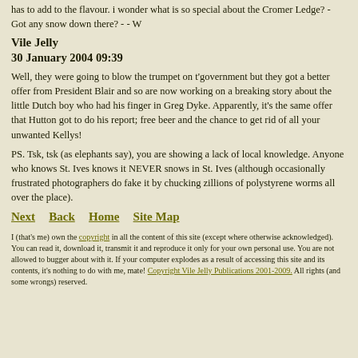has to add to the flavour. i wonder what is so special about the Cromer Ledge? - Got any snow down there? - - W
Vile Jelly
30 January 2004 09:39
Well, they were going to blow the trumpet on t'government but they got a better offer from President Blair and so are now working on a breaking story about the little Dutch boy who had his finger in Greg Dyke. Apparently, it's the same offer that Hutton got to do his report; free beer and the chance to get rid of all your unwanted Kellys!
PS. Tsk, tsk (as elephants say), you are showing a lack of local knowledge. Anyone who knows St. Ives knows it NEVER snows in St. Ives (although occasionally frustrated photographers do fake it by chucking zillions of polystyrene worms all over the place).
Next   Back   Home   Site Map
I (that's me) own the copyright in all the content of this site (except where otherwise acknowledged). You can read it, download it, transmit it and reproduce it only for your own personal use. You are not allowed to bugger about with it. If your computer explodes as a result of accessing this site and its contents, it's nothing to do with me, mate! Copyright Vile Jelly Publications 2001-2009. All rights (and some wrongs) reserved.